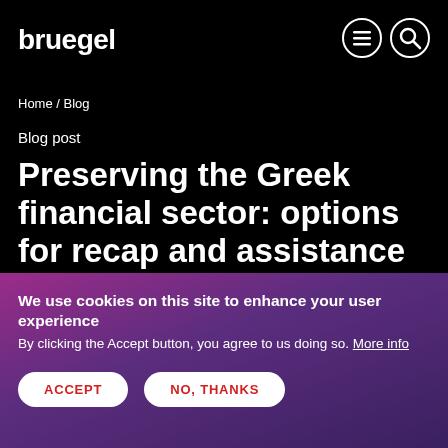bruegel
Home / Blog
Blog post
Preserving the Greek financial sector: options for recap and assistance
We use cookies on this site to enhance your user experience
By clicking the Accept button, you agree to us doing so. More info
ACCEPT
NO, THANKS